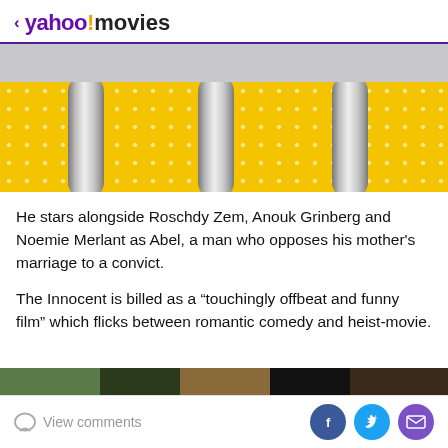< yahoo! movies
[Figure (photo): Yellow polka-dot background with chrome/metal U-shaped bars partially visible, cropped movie-related image]
He stars alongside Roschdy Zem, Anouk Grinberg and Noemie Merlant as Abel, a man who opposes his mother's marriage to a convict.
The Innocent is billed as a “touchingly offbeat and funny film” which flicks between romantic comedy and heist-movie.
[Figure (photo): Partial image visible at bottom of page, appears to be a movie scene]
View comments